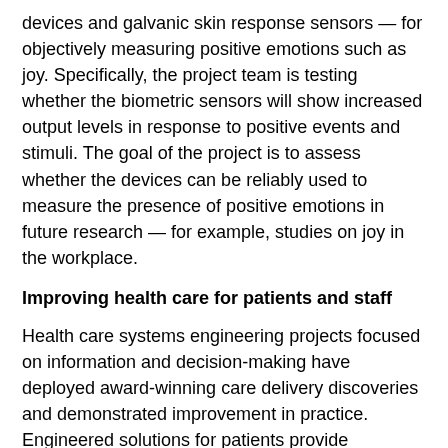devices and galvanic skin response sensors — for objectively measuring positive emotions such as joy. Specifically, the project team is testing whether the biometric sensors will show increased output levels in response to positive events and stimuli. The goal of the project is to assess whether the devices can be reliably used to measure the presence of positive emotions in future research — for example, studies on joy in the workplace.
Improving health care for patients and staff
Health care systems engineering projects focused on information and decision-making have deployed award-winning care delivery discoveries and demonstrated improvement in practice. Engineered solutions for patients provide improved safety, better access, and timely and patient-centered care in areas including:
Emergency medicine
Hospital services
Radiology
Surgery